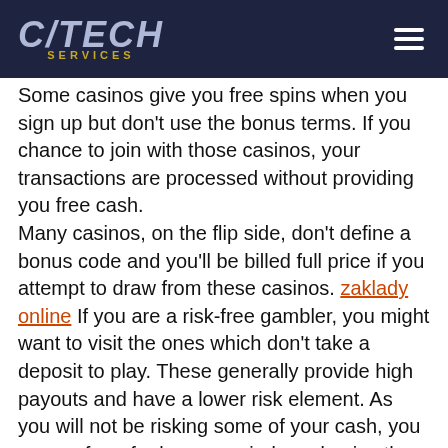CYTECH SERVICES
Some casinos give you free spins when you sign up but don't use the bonus terms. If you chance to join with those casinos, your transactions are processed without providing you free cash. Many casinos, on the flip side, don't define a bonus code and you'll be billed full price if you attempt to draw from these casinos. zaklady online If you are a risk-free gambler, you might want to visit the ones which don't take a deposit to play. These generally provide high payouts and have a lower risk element. As you will not be risking some of your cash, you can perform for longer periods and enjoy the thrill and excitement of slots, blackjack, craps and even bingo. The good thing about internet casinos that don't need you to deposit before you may withdraw is they usually have several promotional offers that could cause you to money back even without a deposit. Just like buying groceries or gas stations, you need to shop for the online casino.